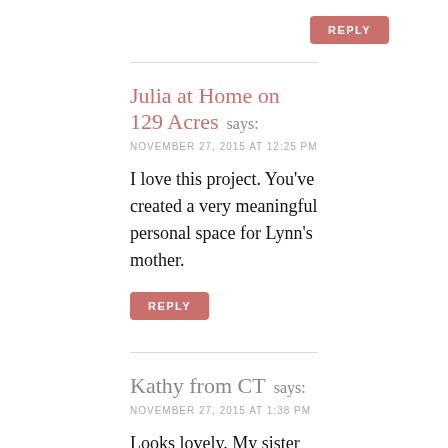REPLY
Julia at Home on 129 Acres says:
NOVEMBER 27, 2015 AT 12:25 PM
I love this project. You've created a very meaningful personal space for Lynn's mother.
REPLY
Kathy from CT says:
NOVEMBER 27, 2015 AT 1:38 PM
Looks lovely. My sister put up TOO many photos in my Mom's Assisted Living room, and it is sensory overload. I've been taking them down little by little.